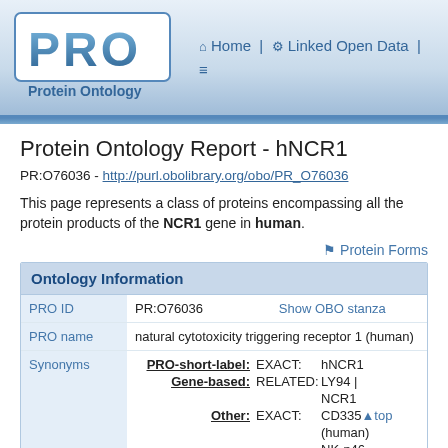Protein Ontology — Home | Linked Open Data |
Protein Ontology Report - hNCR1
PR:O76036 - http://purl.obolibrary.org/obo/PR_O76036
This page represents a class of proteins encompassing all the protein products of the NCR1 gene in human.
▲ Protein Forms
|  | Ontology Information |
| --- | --- |
| PRO ID | PR:O76036 | Show OBO stanza |
| PRO name | natural cytotoxicity triggering receptor 1 (human) |  |
| Synonyms | PRO-short-label: EXACT: hNCR1 | Gene-based: RELATED: LY94 | NCR1 | Other: EXACT: CD335 (human) | NK-p46 (human) |  |